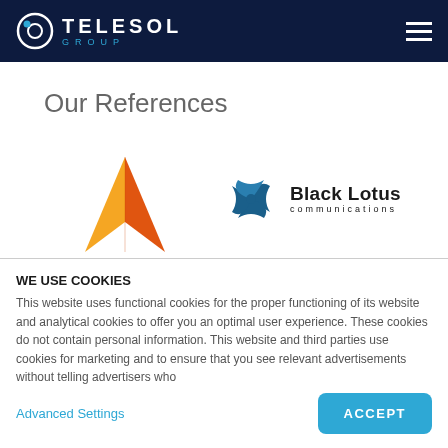[Figure (logo): Telesol Group logo with circular icon and hamburger menu in dark navy header]
Our References
[Figure (logo): APEX logo with orange triangle/mountain graphic and APEX text in bold letters]
[Figure (logo): Black Lotus Communications logo with swirl graphic and bold text]
WE USE COOKIES
This website uses functional cookies for the proper functioning of its website and analytical cookies to offer you an optimal user experience. These cookies do not contain personal information. This website and third parties use cookies for marketing and to ensure that you see relevant advertisements without telling advertisers who
Advanced Settings
ACCEPT